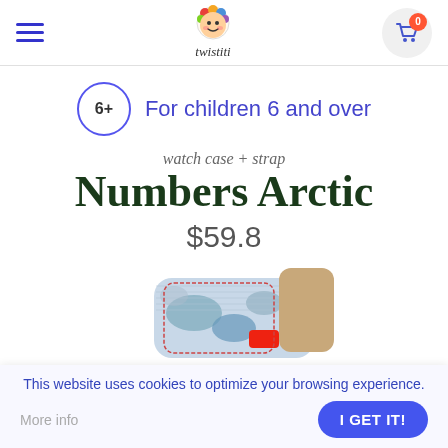twistiti header with hamburger menu, logo, and cart (0 items)
6+  For children 6 and over
watch case + strap
Numbers Arctic
$59.8
[Figure (photo): Photo of Numbers Arctic watch case and strap - blue camo pattern with red accent and tan buckle area]
This website uses cookies to optimize your browsing experience.
More info
I GET IT!